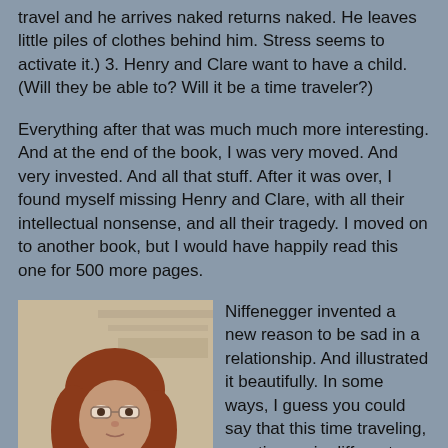travel and he arrives naked returns naked. He leaves little piles of clothes behind him. Stress seems to activate it.) 3. Henry and Clare want to have a child. (Will they be able to? Will it be a time traveler?)
Everything after that was much much more interesting. And at the end of the book, I was very moved. And very invested. And all that stuff. After it was over, I found myself missing Henry and Clare, with all their intellectual nonsense, and all their tragedy. I moved on to another book, but I would have happily read this one for 500 more pages.
[Figure (photo): A woman with red/auburn hair and glasses wearing a black top, photographed indoors. A photobucket watermark is visible.]
Niffenegger invented a new reason to be sad in a relationship. And illustrated it beautifully. In some ways, I guess you could say that this time traveling, meeting up in different stages of life, coming and going, sometimes synchronizing and sometimes missing each other entirely, is